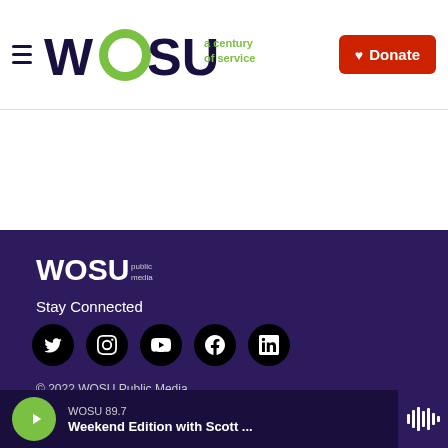WOSU a century of service | Donate
[Figure (logo): WOSU 'a century of service' logo with green O circle, dark purple text, green tagline, and red Donate button with heart icon]
[Figure (logo): WOSU Public Media footer logo in white text on dark purple background]
Stay Connected
[Figure (infographic): Social media icons: Twitter, Instagram, YouTube, Facebook, LinkedIn — white icons on black circles]
© 2022 WOSU Public Media
WOSU
WOSU 89.7
Weekend Edition with Scott ...